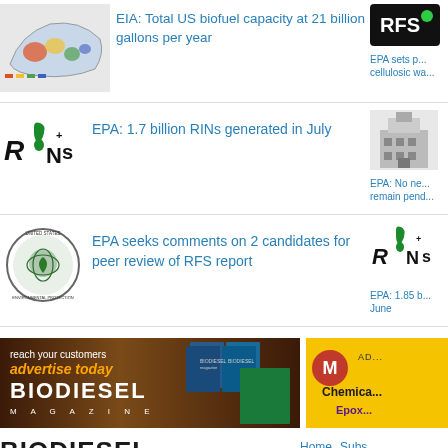[Figure (screenshot): US map showing biofuel capacity]
EIA: Total US biofuel capacity at 21 billion gallons per year
[Figure (logo): RFS logo]
EPA sets p... cellulosic wa...
[Figure (logo): RINs logo]
EPA: 1.7 billion RINs generated in July
[Figure (illustration): Building/government building illustration]
EPA: No ne... remain pend...
[Figure (logo): EPA seal]
EPA seeks comments on 2 candidates for peer review of RFS report
[Figure (logo): RINs logo]
EPA: 1.85 b... June
[Figure (screenshot): Biodiesel Magazine advertise today banner ad]
[Figure (logo): M Chemical Epoxy company ad]
[Figure (logo): Biodiesel Magazine footer logo]
Home   Subs...
[Figure (logo): BBI Media logo in dark footer bar]